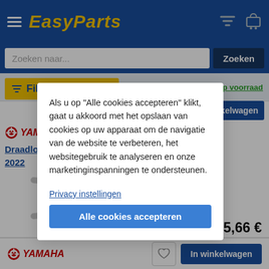EasyParts
Zoeken naar...
Zoeken
Filtere
Op voorraad
vinkelwagen
[Figure (logo): Yamaha logo with stylized globe icon and YAMAHA text in red]
Draadloze sm…
eo’s electric
2022
[Figure (illustration): Loading spinner / circular progress indicator in gray]
Als u op "Alle cookies accepteren" klikt, gaat u akkoord met het opslaan van cookies op uw apparaat om de navigatie van de website te verbeteren, het websitegebruik te analyseren en onze marketinginspanningen te ondersteunen.
Privacy instellingen
Alle cookies accepteren
65,66 €
2 werkdagen
[Figure (logo): Yamaha logo bottom bar]
In winkelwagen